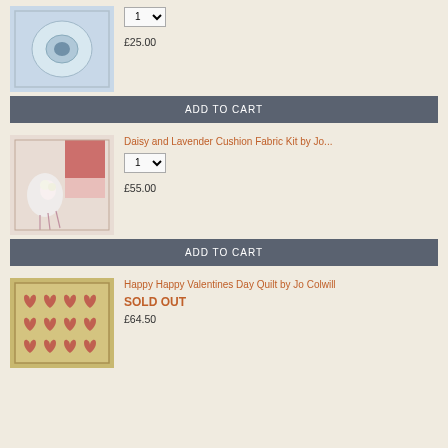[Figure (photo): Product photo of a decorative quilt/textile with floral pattern on light background]
1 (quantity dropdown)
£25.00
ADD TO CART
Daisy and Lavender Cushion Fabric Kit by Jo...
[Figure (photo): Product photo of a cushion with daisy and lavender floral fabric design]
1 (quantity dropdown)
£55.00
ADD TO CART
Happy Happy Valentines Day Quilt by Jo Colwill
[Figure (photo): Product photo of a quilt with heart applique pattern on tan/beige background]
SOLD OUT
£64.50